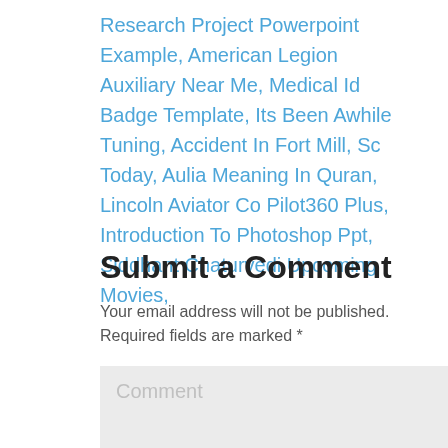Research Project Powerpoint Example, American Legion Auxiliary Near Me, Medical Id Badge Template, Its Been Awhile Tuning, Accident In Fort Mill, Sc Today, Aulia Meaning In Quran, Lincoln Aviator Co Pilot360 Plus, Introduction To Photoshop Ppt, Siddhant Chaturvedi Upcoming Movies,
Submit a Comment
Your email address will not be published. Required fields are marked *
Comment